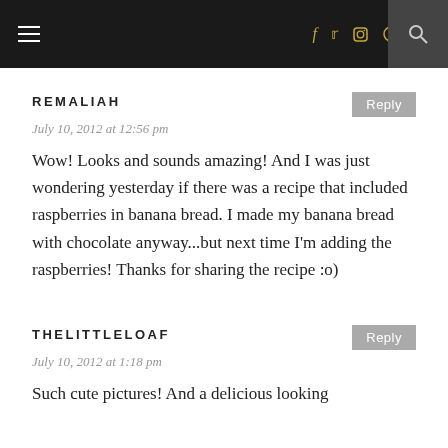Navigation bar with hamburger menu, social icons (f, Twitter, Instagram, Pinterest, heart), and search icon
REMALIAH
July 10, 2012 at 12:56 pm
Wow! Looks and sounds amazing! And I was just wondering yesterday if there was a recipe that included raspberries in banana bread. I made my banana bread with chocolate anyway...but next time I'm adding the raspberries! Thanks for sharing the recipe :o)
THELITTLELOAF
July 10, 2012 at 1:18 pm
Such cute pictures! And a delicious looking loaf! I may have to give this lemon twist a...